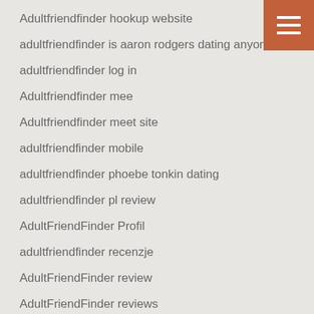Adultfriendfinder hookup website
adultfriendfinder is aaron rodgers dating anyone
adultfriendfinder log in
Adultfriendfinder mee
Adultfriendfinder meet site
adultfriendfinder mobile
adultfriendfinder phoebe tonkin dating
adultfriendfinder pl review
AdultFriendFinder Profil
adultfriendfinder recenzje
AdultFriendFinder review
AdultFriendFinder reviews
adultfriendfinder revoir
[Figure (other): Hamburger menu button — three white horizontal lines on a burnt-orange square background, top-right corner]